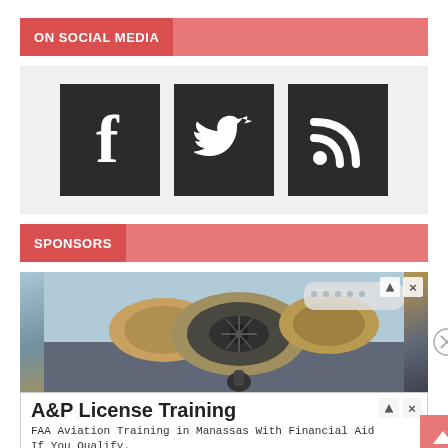ON SOCIAL MEDIA
[Figure (infographic): Three dark square social media icons: Facebook (f), Twitter (bird), RSS feed symbol, on a light gray background]
SPONSORS
[Figure (photo): Advertisement showing airplane jet engines close-up with blue sky background. Ad controls (triangle and X) in top right corner.]
A&P License Training
FAA Aviation Training in Manassas With Financial Aid If You Qualify.